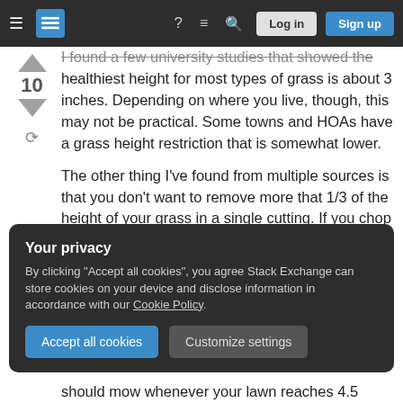Stack Exchange navigation bar with Log in and Sign up buttons
I found a few university studies that showed the healthiest height for most types of grass is about 3 inches. Depending on where you live, though, this may not be practical. Some towns and HOAs have a grass height restriction that is somewhat lower.

The other thing I've found from multiple sources is that you don't want to remove more that 1/3 of the height of your grass in a single cutting. If you chop off too much at once, it stresses the grass. (This may be your problem.)
Your privacy
By clicking "Accept all cookies", you agree Stack Exchange can store cookies on your device and disclose information in accordance with our Cookie Policy.
Accept all cookies   Customize settings
should mow whenever your lawn reaches 4.5